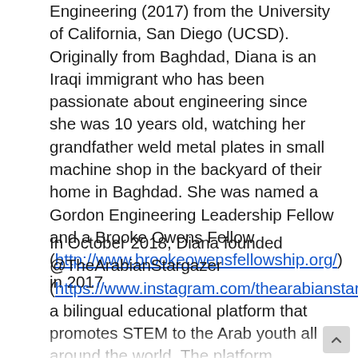Engineering (2017) from the University of California, San Diego (UCSD). Originally from Baghdad, Diana is an Iraqi immigrant who has been passionate about engineering since she was 10 years old, watching her grandfather weld metal plates in small machine shop in the backyard of their home in Baghdad. She was named a Gordon Engineering Leadership Fellow and a Brooke Owens Fellow (http://www.brookeowensfellowship.org/) in 2017.
In October 2018, Diana founded @TheArabianStargazer (https://www.instagram.com/thearabianstargazer/); a bilingual educational platform that promotes STEM to the Arab youth all around the world. The platform includes videos, pictures and riddles about subjects such as "Why should I be an Engineer?" and "How does Space Exploration helps us here on Earth?" She aspires to inspire the youth, especially in the Middle East...